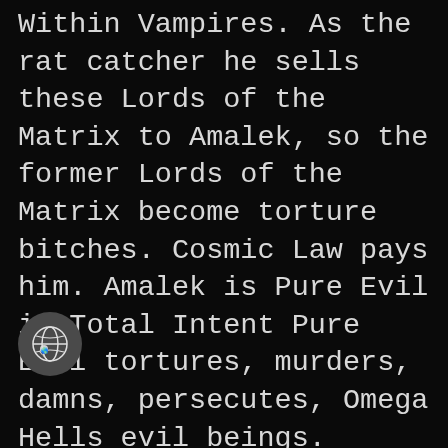Within Vampires. As the rat catcher he sells these Lords of the Matrix to Amalek, so the former Lords of the Matrix become torture bitches. Cosmic Law pays him. Amalek is Pure Evil in Total Intent Pure Evil tortures, murders, damns, persecutes, Omega Hells evil beings. Lucifer is the Archetypes of Vampires. Amalek is the Archetype of the Pure Evil inflicted on the damned. The sting in the tail is that Lucifer tricks the Vampires to become torture bitches by picking on the Cosmic Assassin: the Real Vampire® Psi-Lord: *Tim*: Total tent Manifest. The Cosmic assin embodies all Vampirism as he feeds off the evil bastards who wronged him and is fed by Cosmic
[Figure (illustration): Globe/earth icon in a dark circular button, positioned at lower left]